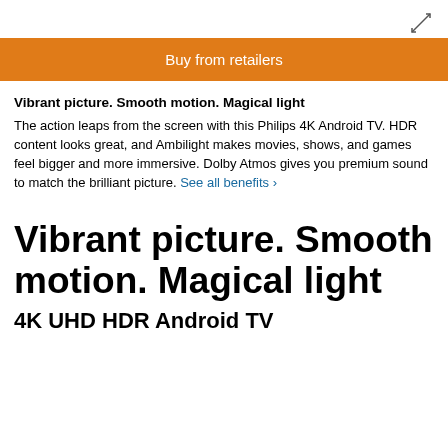[Figure (other): Expand/resize icon arrows in top right corner]
Buy from retailers
Vibrant picture. Smooth motion. Magical light
The action leaps from the screen with this Philips 4K Android TV. HDR content looks great, and Ambilight makes movies, shows, and games feel bigger and more immersive. Dolby Atmos gives you premium sound to match the brilliant picture. See all benefits ›
Vibrant picture. Smooth motion. Magical light
4K UHD HDR Android TV